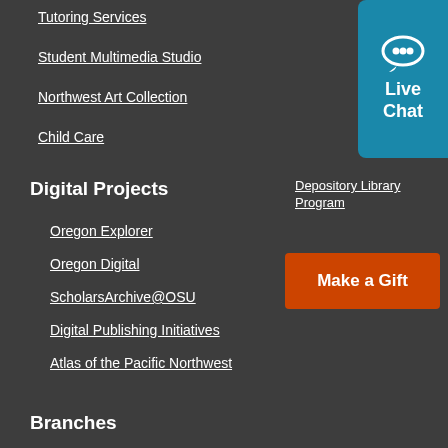Tutoring Services
Student Multimedia Studio
Northwest Art Collection
Child Care
[Figure (other): Live Chat button widget — teal/dark cyan rounded rectangle with speech bubble icon and text 'Live Chat']
Digital Projects
Depository Library Program
Oregon Explorer
Oregon Digital
ScholarsArchive@OSU
Digital Publishing Initiatives
Atlas of the Pacific Northwest
[Figure (other): Make a Gift orange button]
Branches